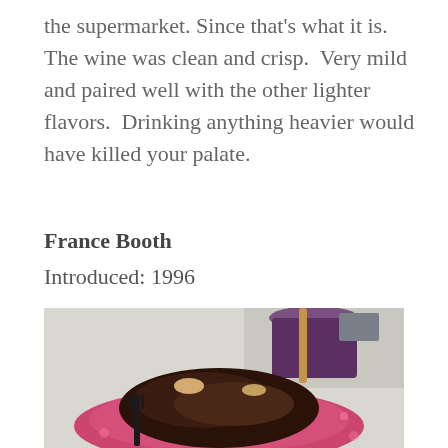the supermarket. Since that's what it is.  The wine was clean and crisp.  Very mild and paired well with the other lighter flavors.  Drinking anything heavier would have killed your palate.
France Booth
Introduced: 1996
[Figure (photo): Photo of grilled or roasted meat on a pink/red decorative paper plate with a fork, and a dark cup or drink in the background.]